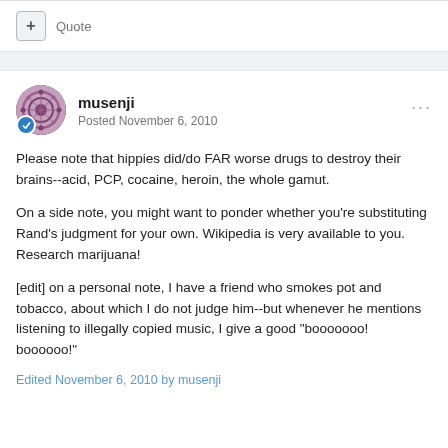+ Quote
musenji — Posted November 6, 2010
Please note that hippies did/do FAR worse drugs to destroy their brains--acid, PCP, cocaine, heroin, the whole gamut.
On a side note, you might want to ponder whether you're substituting Rand's judgment for your own. Wikipedia is very available to you. Research marijuana!
[edit] on a personal note, I have a friend who smokes pot and tobacco, about which I do not judge him--but whenever he mentions listening to illegally copied music, I give a good "booooooo! boooooo!"
Edited November 6, 2010 by musenji